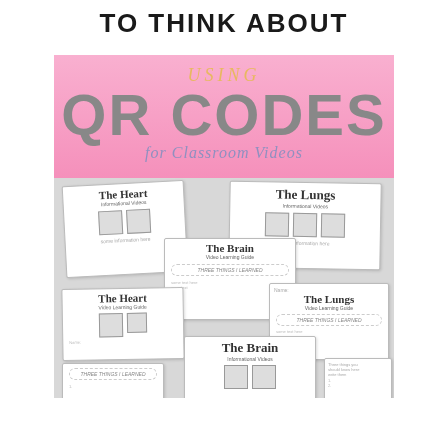TO THINK ABOUT
[Figure (illustration): Educational poster showing 'USING QR CODES for Classroom Videos' on a pink background, with sample worksheet cards showing The Heart, The Lungs, The Brain topics with QR codes and 'Three Things I Learned' sections]